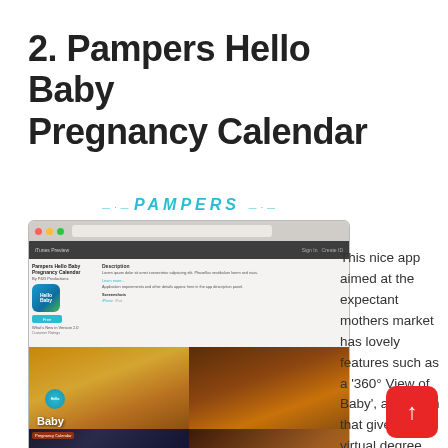2. Pampers Hello Baby Pregnancy Calendar
[Figure (screenshot): Screenshot of iTunes Preview page for Pampers Hello Baby Pregnancy Calendar app, showing the app icon, description, and promotional images of babies including a '360 View of Baby' feature. The Pampers logo appears above the screenshot.]
This nice app aimed at the expectant mothers market has lovely features such as a '360° View of Baby', a function that gives a virtual degree view of typical baby on